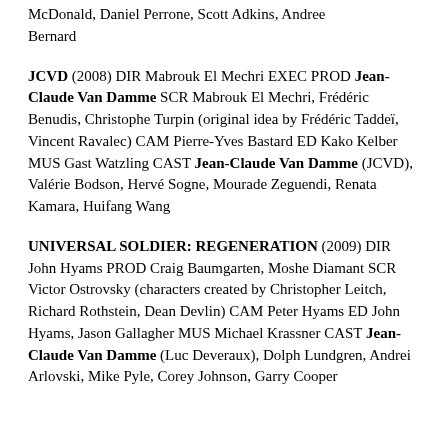McDonald, Daniel Perrone, Scott Adkins, Andree Bernard
JCVD (2008) DIR Mabrouk El Mechri EXEC PROD Jean-Claude Van Damme SCR Mabrouk El Mechri, Frédéric Benudis, Christophe Turpin (original idea by Frédéric Taddeï, Vincent Ravalec) CAM Pierre-Yves Bastard ED Kako Kelber MUS Gast Watzling CAST Jean-Claude Van Damme (JCVD), Valérie Bodson, Hervé Sogne, Mourade Zeguendi, Renata Kamara, Huifang Wang
UNIVERSAL SOLDIER: REGENERATION (2009) DIR John Hyams PROD Craig Baumgarten, Moshe Diamant SCR Victor Ostrovsky (characters created by Christopher Leitch, Richard Rothstein, Dean Devlin) CAM Peter Hyams ED John Hyams, Jason Gallagher MUS Michael Krassner CAST Jean-Claude Van Damme (Luc Deveraux), Dolph Lundgren, Andrei Arlovski, Mike Pyle, Corey Johnson, Garry Cooper